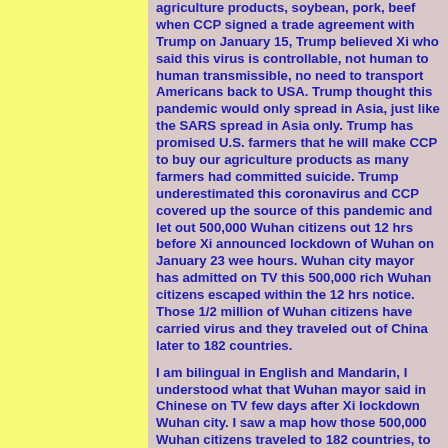agriculture products, soybean, pork, beef when CCP signed a trade agreement with Trump on January 15, Trump believed Xi who said this virus is controllable, not human to human transmissible, no need to transport Americans back to USA. Trump thought this pandemic would only spread in Asia, just like the SARS spread in Asia only. Trump has promised U.S. farmers that he will make CCP to buy our agriculture products as many farmers had committed suicide. Trump underestimated this coronavirus and CCP covered up the source of this pandemic and let out 500,000 Wuhan citizens out 12 hrs before Xi announced lockdown of Wuhan on January 23 wee hours. Wuhan city mayor has admitted on TV this 500,000 rich Wuhan citizens escaped within the 12 hrs notice. Those 1/2 million of Wuhan citizens have carried virus and they traveled out of China later to 182 countries.
I am bilingual in English and Mandarin, I understood what that Wuhan mayor said in Chinese on TV few days after Xi lockdown Wuhan city. I saw a map how those 500,000 Wuhan citizens traveled to 182 countries, to Italy, Spain, France, Iran, and USA.
CCP should p*y for the lives loss and financial loss in the world. CCP should be responsible